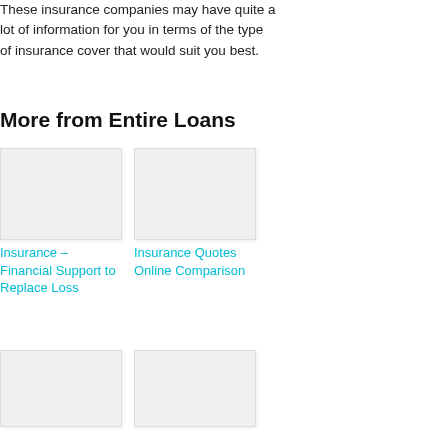These insurance companies may have quite a lot of information for you in terms of the type of insurance cover that would suit you best.
More from Entire Loans
[Figure (photo): Placeholder image card 1 - insurance related]
[Figure (photo): Placeholder image card 2 - insurance related]
Insurance – Financial Support to Replace Loss
Insurance Quotes Online Comparison
[Figure (photo): Placeholder image card 3]
[Figure (photo): Placeholder image card 4]
How is it Calculated
How To Invest In The JSE Stock Market
JSE Online Trading
[Figure (infographic): Red banner advertisement: FREE ONLINE LOAN APPLICATIONS QUICK PAYOUT]